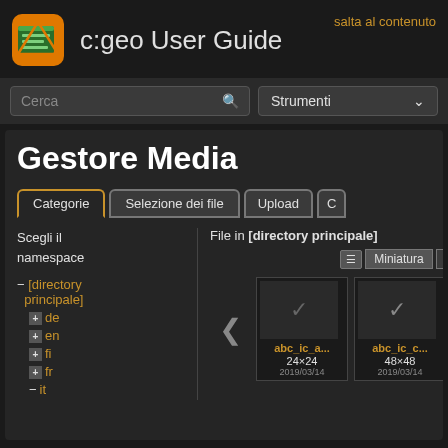c:geo User Guide
salta al contenuto
Cerca
Strumenti
Gestore Media
Categorie | Selezione dei file | Upload | C
Scegli il namespace
File in [directory principale]
Miniatura  Righe
- [directory principale]
+ de
+ en
+ fi
+ fr
- it
abc_ic_a...  24×24  2019/03/14
abc_ic_c...  48×48  2019/03/14